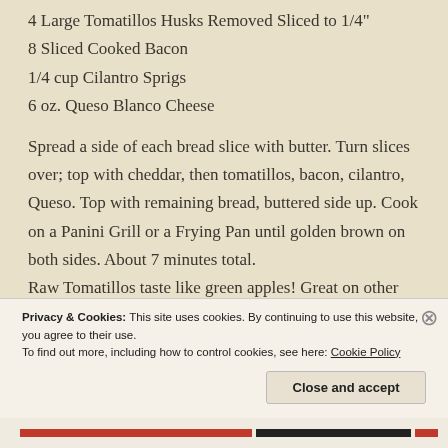4 Large Tomatillos Husks Removed Sliced to 1/4"
8 Sliced Cooked Bacon
1/4 cup Cilantro Sprigs
6 oz. Queso Blanco Cheese
Spread a side of each bread slice with butter. Turn slices over; top with cheddar, then tomatillos, bacon, cilantro, Queso. Top with remaining bread, buttered side up. Cook on a Panini Grill or a Frying Pan until golden brown on both sides. About 7 minutes total. Raw Tomatillos taste like green apples! Great on other sandwiches as well!
Privacy & Cookies: This site uses cookies. By continuing to use this website, you agree to their use. To find out more, including how to control cookies, see here: Cookie Policy
Close and accept